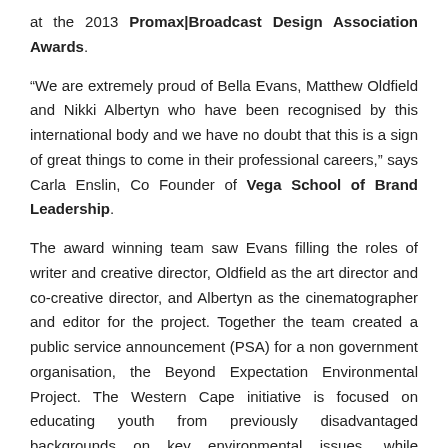at the 2013 Promax|Broadcast Design Association Awards.
“We are extremely proud of Bella Evans, Matthew Oldfield and Nikki Albertyn who have been recognised by this international body and we have no doubt that this is a sign of great things to come in their professional careers,” says Carla Enslin, Co Founder of Vega School of Brand Leadership.
The award winning team saw Evans filling the roles of writer and creative director, Oldfield as the art director and co-creative director, and Albertyn as the cinematographer and editor for the project. Together the team created a public service announcement (PSA) for a non government organisation, the Beyond Expectation Environmental Project. The Western Cape initiative is focused on educating youth from previously disadvantaged backgrounds on key environmental issues, while simultaneously providing the mentorship needed to help them tackle the many social problems faced in their local communities.